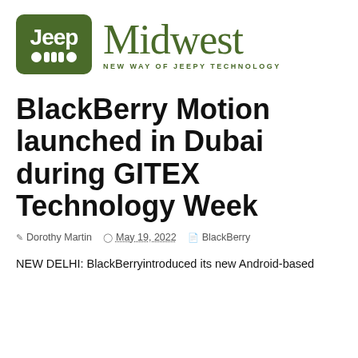[Figure (logo): Jeep Midwest logo with green Jeep badge icon and 'Midwest' text in green serif font, tagline 'NEW WAY OF JEEPY TECHNOLOGY']
BlackBerry Motion launched in Dubai during GITEX Technology Week
Dorothy Martin   May 19, 2022   BlackBerry
NEW DELHI: BlackBerryintroduced its new Android-based